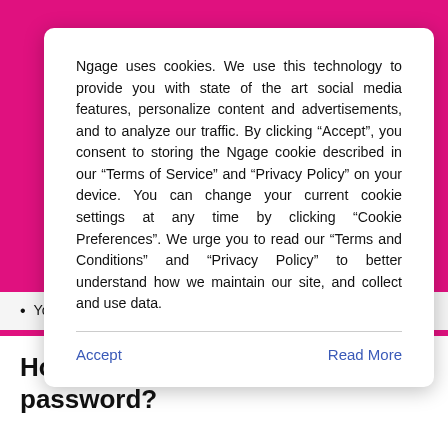Ngage uses cookies. We use this technology to provide you with state of the art social media features, personalize content and advertisements, and to analyze our traffic. By clicking “Accept”, you consent to storing the Ngage cookie described in our “Terms of Service” and “Privacy Policy” on your device. You can change your current cookie settings at any time by clicking “Cookie Preferences”. We urge you to read our “Terms and Conditions” and “Privacy Policy” to better understand how we maintain our site, and collect and use data.
Accept
Read More
You’re all set now.
How to change ProtonMail password?